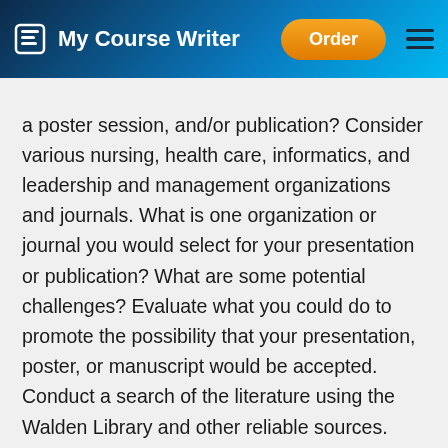My Course Writer | Order
a poster session, and/or publication? Consider various nursing, health care, informatics, and leadership and management organizations and journals. What is one organization or journal you would select for your presentation or publication? What are some potential challenges? Evaluate what you could do to promote the possibility that your presentation, poster, or manuscript would be accepted. Conduct a search of the literature using the Walden Library and other reliable sources. Locate two or more articles published in peer-reviewed journals within the last five years that relate to your Practicum Project. These articles should demonstrate the significance of the topic for...